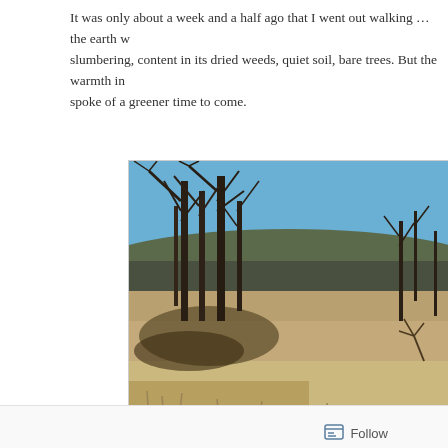It was only about a week and a half ago that I went out walking … the earth w slumbering, content in its dried weeds, quiet soil, bare trees. But the warmth in spoke of a greener time to come.
[Figure (photo): Outdoor landscape photo showing bare winter trees on the left with dark trunks and bare branches against a clear blue sky, rolling hills in the background, and a flat field of dry brown dead grass and fallen leaves in the foreground.]
Follow